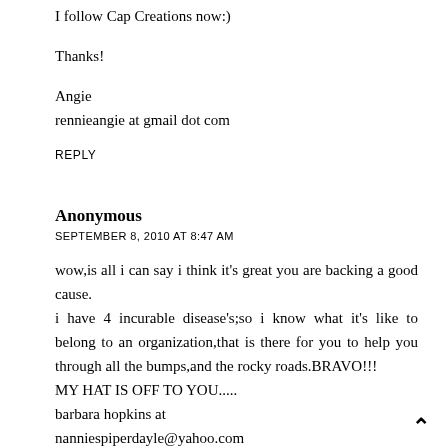I follow Cap Creations now:)
Thanks!
Angie
rennieangie at gmail dot com
REPLY
Anonymous
SEPTEMBER 8, 2010 AT 8:47 AM
wow,is all i can say i think it's great you are backing a good cause.
i have 4 incurable disease's;so i know what it's like to belong to an organization,that is there for you to help you through all the bumps,and the rocky roads.BRAVO!!!
MY HAT IS OFF TO YOU.....
barbara hopkins at
nanniespiperdayle@yahoo.com
REPLY
Anonymous